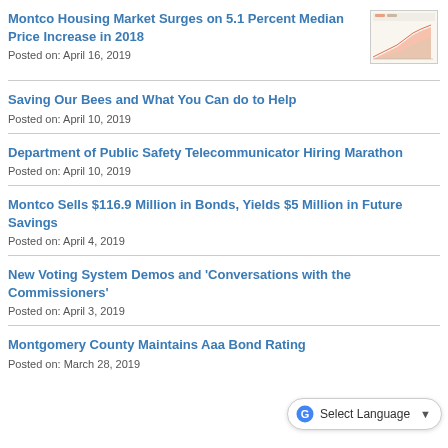Montco Housing Market Surges on 5.1 Percent Median Price Increase in 2018
Posted on: April 16, 2019
[Figure (area-chart): Small thumbnail area chart showing housing price trends]
Saving Our Bees and What You Can do to Help
Posted on: April 10, 2019
Department of Public Safety Telecommunicator Hiring Marathon
Posted on: April 10, 2019
Montco Sells $116.9 Million in Bonds, Yields $5 Million in Future Savings
Posted on: April 4, 2019
New Voting System Demos and 'Conversations with the Commissioners'
Posted on: April 3, 2019
Montgomery County Maintains Aaa Bond Rating
Posted on: March 28, 2019